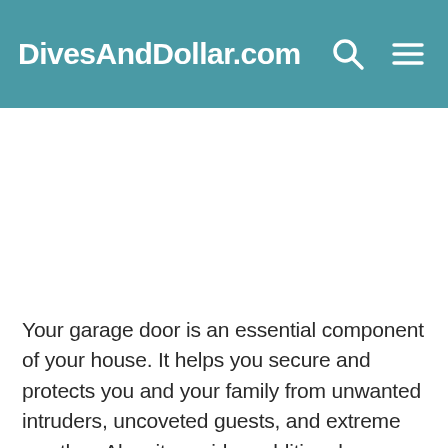DivesAndDollar.com
[Figure (other): Advertisement / blank white space placeholder area]
Your garage door is an essential component of your house. It helps you secure and protects you and your family from unwanted intruders, uncoveted guests, and extreme weather. Also, it provides additional